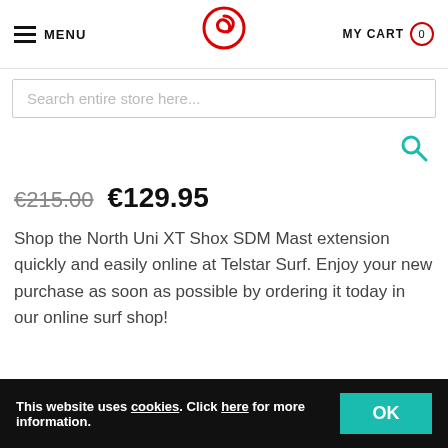MENU | [logo] | MY CART 0
Search entire store here...
€215.00  €129.95
Shop the North Uni XT Shox SDM Mast extension quickly and easily online at Telstar Surf. Enjoy your new purchase as soon as possible by ordering it today in our online surf shop!
This website uses cookies. Click here for more information.